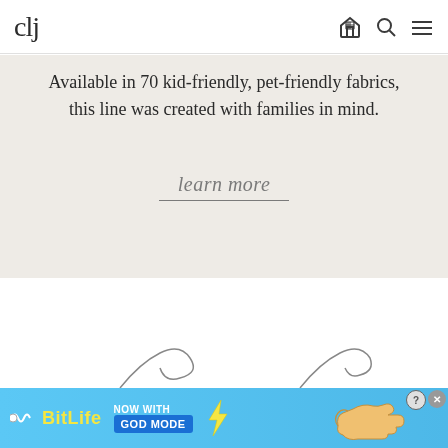clj
Available in 70 kid-friendly, pet-friendly fabrics, this line was created with families in mind.
learn more
[Figure (illustration): Advertisement banner for BitLife mobile game promoting 'God Mode' feature, with yellow logo text on blue background and animated hand/pointing illustration]